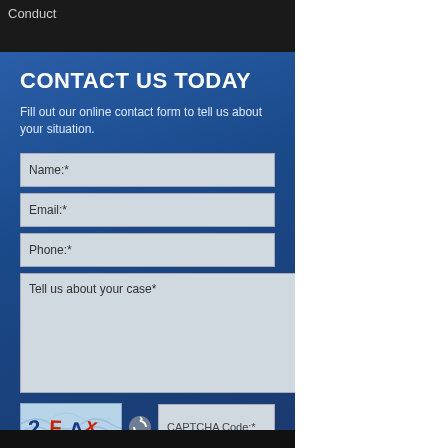Conduct
CONTACT US TODAY
Fill out our online contact form to tell us about your situation.
[Figure (screenshot): Web contact form with fields for Name, Email, Phone, Tell us about your case, CAPTCHA image showing '2FAx' with refresh button and CAPTCHA Code input, and a submit button labeled 'TELL US ABOUT YOUR CASE']